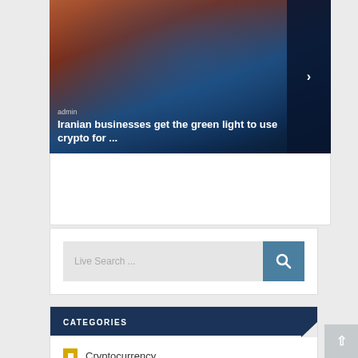[Figure (photo): Screenshot of a news website showing an article thumbnail image with an Iranian architectural dome building in blue mosaic tile, with fiery orange sky. Text overlay shows 'admin' and headline 'Iranian businesses get the green light to use crypto for ...' with a right arrow navigation button on the dark blue right panel.]
admin
Iranian businesses get the green light to use crypto for ...
Live Search ...
CATEGORIES
Cryptocurrency